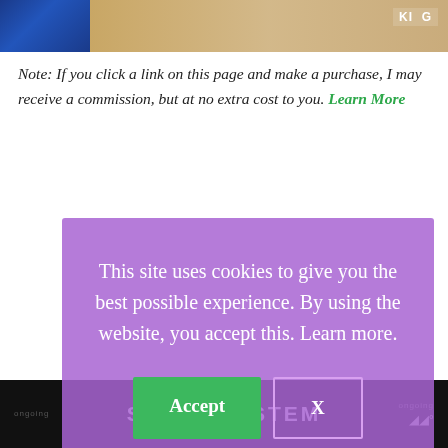[Figure (photo): Top image strip showing blue fabric/leather on left and beige floral embroidered fabric on right, with a KING badge in the top-right corner]
Note: If you click a link on this page and make a purchase, I may receive a commission, but at no extra cost to you. Learn More
[Figure (screenshot): Cookie consent modal overlay with purple background. Text: 'This site uses cookies to give you the best possible experience. By using the website, you accept this. Learn more.' Two buttons: green 'Accept' and outlined 'X']
Table Of Contents
[Figure (logo): Footer bar with dark background showing 'SHE CAN STEM' logo text in white bold letters, and a Mastercard/streaming icon on the right]